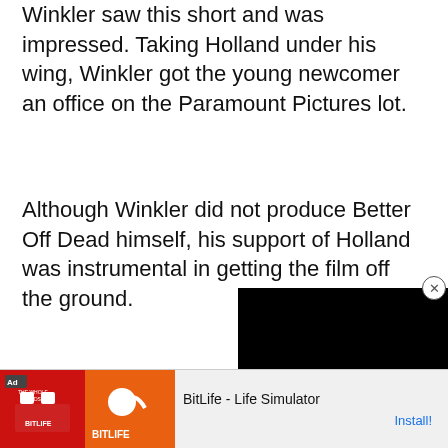Winkler saw this short and was impressed. Taking Holland under his wing, Winkler got the young newcomer an office on the Paramount Pictures lot.
Although Winkler did not produce Better Off Dead himself, his support of Holland was instrumental in getting the film off the ground.
[Figure (screenshot): Black video player overlay in the bottom-right area of the page]
[Figure (infographic): Advertisement banner for BitLife - Life Simulator app with Ad tag, app imagery, title 'BitLife - Life Simulator', and Install button]